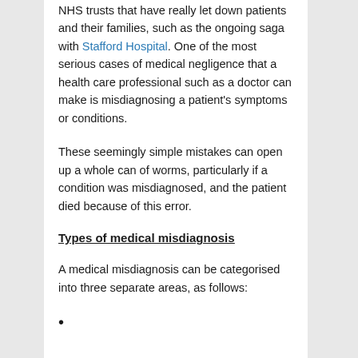NHS trusts that have really let down patients and their families, such as the ongoing saga with Stafford Hospital. One of the most serious cases of medical negligence that a health care professional such as a doctor can make is misdiagnosing a patient's symptoms or conditions.
These seemingly simple mistakes can open up a whole can of worms, particularly if a condition was misdiagnosed, and the patient died because of this error.
Types of medical misdiagnosis
A medical misdiagnosis can be categorised into three separate areas, as follows: